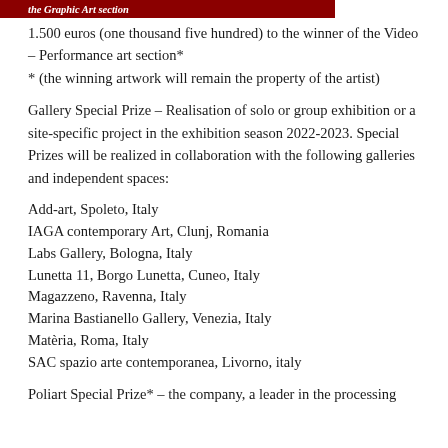the Graphic Art section
1.500 euros (one thousand five hundred) to the winner of the Video – Performance art section*
* (the winning artwork will remain the property of the artist)
Gallery Special Prize – Realisation of solo or group exhibition or a site-specific project in the exhibition season 2022-2023. Special Prizes will be realized in collaboration with the following galleries and independent spaces:
Add-art, Spoleto, Italy
IAGA contemporary Art, Clunj, Romania
Labs Gallery, Bologna, Italy
Lunetta 11, Borgo Lunetta, Cuneo, Italy
Magazzeno, Ravenna, Italy
Marina Bastianello Gallery, Venezia, Italy
Matèria, Roma, Italy
SAC spazio arte contemporanea, Livorno, italy
Poliart Special Prize* – the company, a leader in the processing